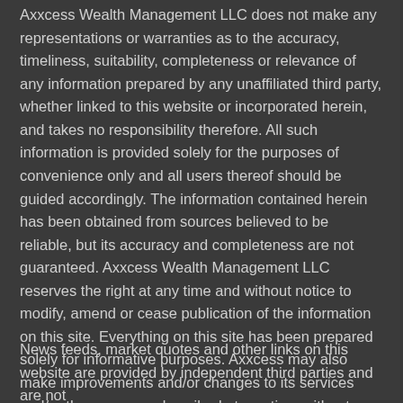Axxcess Wealth Management LLC does not make any representations or warranties as to the accuracy, timeliness, suitability, completeness or relevance of any information prepared by any unaffiliated third party, whether linked to this website or incorporated herein, and takes no responsibility therefore. All such information is provided solely for the purposes of convenience only and all users thereof should be guided accordingly. The information contained herein has been obtained from sources believed to be reliable, but its accuracy and completeness are not guaranteed. Axxcess Wealth Management LLC reserves the right at any time and without notice to modify, amend or cease publication of the information on this site. Everything on this site has been prepared solely for informative purposes. Axxcess may also make improvements and/or changes to its services and/or the programs described at any time without notice.
News feeds, market quotes and other links on this website are provided by independent third parties and are not